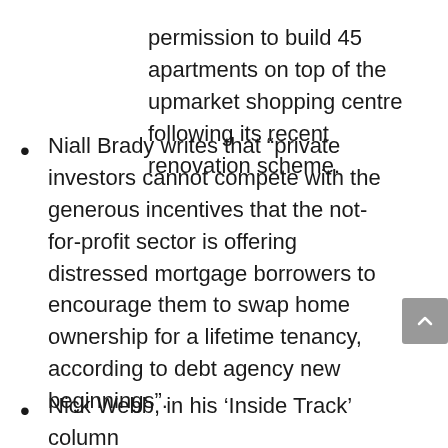permission to build 45 apartments on top of the upmarket shopping centre following its recent renovation scheme.
Niall Brady writes that “private investors cannot compete with the generous incentives that the not-for-profit sector is offering distressed mortgage borrowers to encourage them to swap home ownership for a lifetime tenancy, according to debt agency new beginnings”.
Nick Webb, in his ‘Inside Track’ column